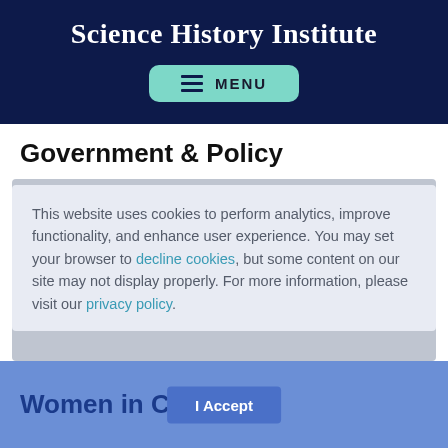Science History Institute
[Figure (screenshot): MENU button with hamburger icon on dark navy background]
Government & Policy
This website uses cookies to perform analytics, improve functionality, and enhance user experience. You may set your browser to decline cookies, but some content on our site may not display properly. For more information, please visit our privacy policy.
I Accept
Women in Chemistry